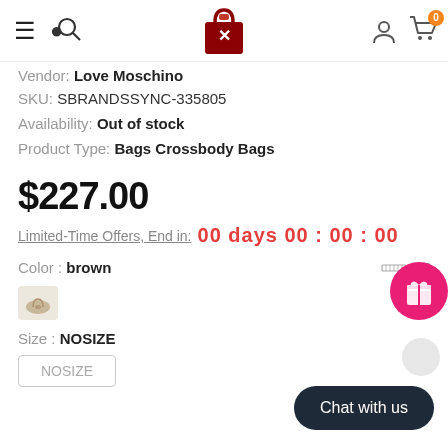Navigation bar with hamburger, search, logo, user, and cart icons
Vendor: Love Moschino
SKU: SBRANDSSYNC-335805
Availability: Out of stock
Product Type: Bags Crossbody Bags
$227.00
Limited-Time Offers, End in:  00 days 00 : 00 : 00
Color : brown
[Figure (photo): Small brown/beige bag color swatch thumbnail]
Size : NOSIZE
NOSIZE (button)
Chat with us